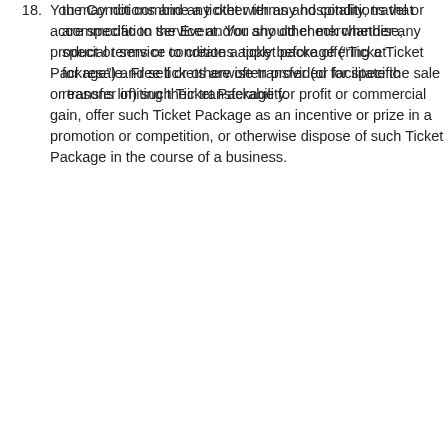the Conditions and any other terms and conditions that are specific to the Event. You should check whether any special terms or conditions apply before offering a Ticket for resale. Free tickets are often provided for specific reasons limiting their transferability.
18. You may not combine a ticket with any hospitality, travel or accommodation service and/or any other merchandise, product or service to create a ticket package (“Ticket Package”) and sell or otherwise transfer (or facilitate the sale or transfer of) such Ticket Package for profit or commercial gain, offer such Ticket Package as an incentive or prize in a promotion or competition, or otherwise dispose of such Ticket Package in the course of a business.